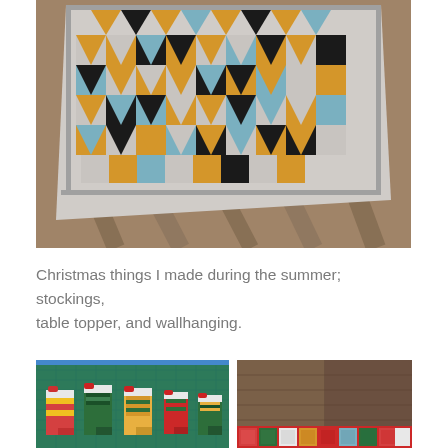[Figure (photo): A patchwork quilt with triangles in gold, black, blue, gray, and white geometric patterns, photographed on a wooden deck surface]
Christmas things I made during the summer; stockings, table topper, and wallhanging.
[Figure (photo): Several Christmas stockings in red, green, striped, and patterned fabrics laid out on a green cutting mat]
[Figure (photo): A table topper or wallhanging with a patchwork strip of colorful Christmas fabric squares on a dark textured background]